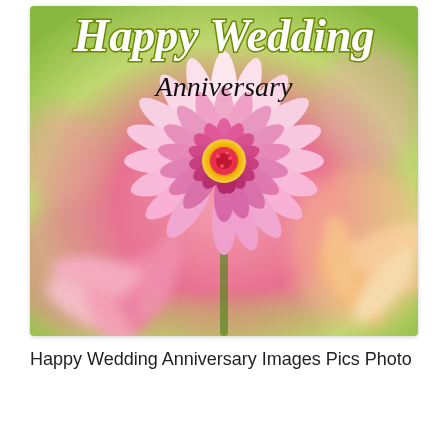[Figure (photo): A greeting card image showing pink dahlia flowers in full bloom against a blurred green and pink floral background. Text overlay at the top reads 'Happy Wedding Anniversary' in decorative script — 'Happy Wedding' in large white script with green outline, and 'Anniversary' in smaller black script.]
Happy Wedding Anniversary Images Pics Photo